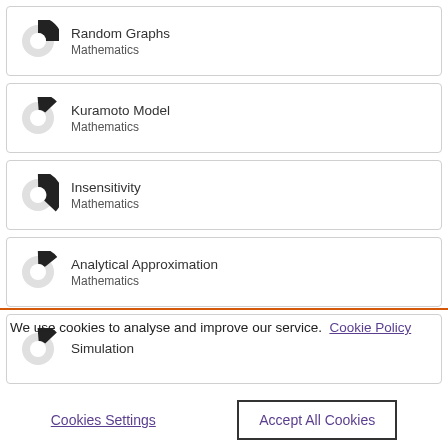Random Graphs — Mathematics
Kuramoto Model — Mathematics
Insensitivity — Mathematics
Analytical Approximation — Mathematics
Simulation
We use cookies to analyse and improve our service.  Cookie Policy
Cookies Settings
Accept All Cookies